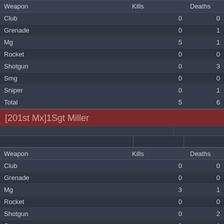| Weapon | Kills | Deaths |
| --- | --- | --- |
| Club | 0 | 0 |
| Grenade | 0 | 1 |
| Mg | 5 | 1 |
| Rocket | 0 | 0 |
| Shotgun | 0 | 3 |
| Smg | 0 | 0 |
| Sniper | 0 | 1 |
| Total | 5 | 6 |
[201st Mx]1Sgt Miller
| Weapon | Kills | Deaths |
| --- | --- | --- |
| Club | 0 | 0 |
| Grenade | 0 | 0 |
| Mg | 3 | 1 |
| Rocket | 0 | 0 |
| Shotgun | 0 | 2 |
| Smg | 0 | 1 |
| Sniper | 0 | 0 |
| Total | 3 | 4 |
yaseen